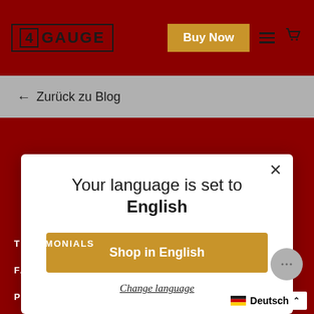4 GAUGE | Buy Now
← Zurück zu Blog
Your language is set to English
Shop in English
Change language
TESTIMONIALS
FAQS
PRIVACY POLICY
TERMS & CONDITIONS
Deutsch